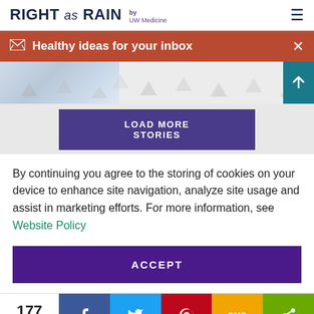RIGHT as RAIN by UW Medicine
Healthy ideas for your inbox
[Figure (screenshot): Partial medical/article image on left with decorative triangle pattern background and teal scroll-to-top arrow button on right]
LOAD MORE STORIES
By continuing you agree to the storing of cookies on your device to enhance site navigation, analyze site usage and assist in marketing efforts. For more information, see Website Policy
ACCEPT
177 Shares | Facebook | Twitter | Pinterest | SMS | Share